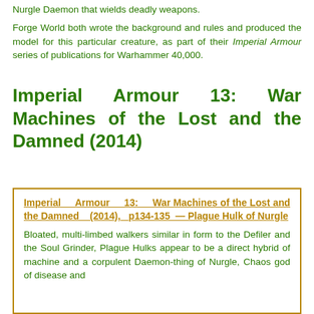Nurgle Daemon that wields deadly weapons.
Forge World both wrote the background and rules and produced the model for this particular creature, as part of their Imperial Armour series of publications for Warhammer 40,000.
Imperial Armour 13: War Machines of the Lost and the Damned (2014)
Imperial Armour 13: War Machines of the Lost and the Damned (2014), p134-135 — Plague Hulk of Nurgle
Bloated, multi-limbed walkers similar in form to the Defiler and the Soul Grinder, Plague Hulks appear to be a direct hybrid of machine and a corpulent Daemon-thing of Nurgle, Chaos god of disease and